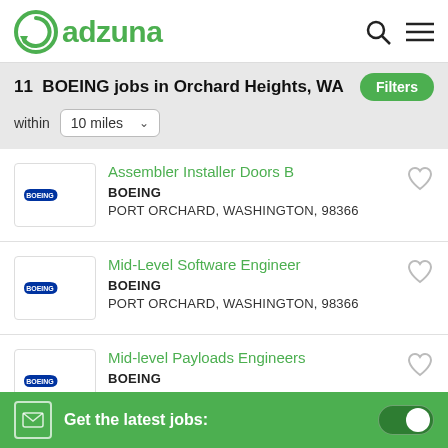[Figure (logo): Adzuna logo with green circular arrow icon and green text 'adzuna']
11 BOEING jobs in Orchard Heights, WA
within 10 miles
Assembler Installer Doors B
BOEING
PORT ORCHARD, WASHINGTON, 98366
Mid-Level Software Engineer
BOEING
PORT ORCHARD, WASHINGTON, 98366
Mid-level Payloads Engineers
BOEING
PORT ORCHARD, WASHINGTON, 98366
Get the latest jobs: